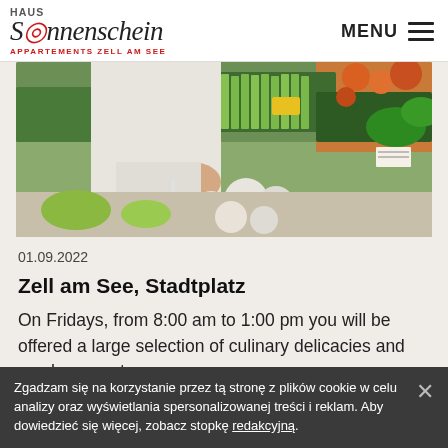HAUS Sonnenschein APPARTEMENTS ZELL AM SEE | MENU
[Figure (photo): Person reaching over a market stall with fresh vegetables including asparagus, cauliflower, and other produce in green crates]
01.09.2022
Zell am See, Stadtplatz
On Fridays, from 8:00 am to 1:00 pm you will be offered a large selection of culinary delicacies and much more at a
Zgadzam się na korzystanie przez tą stronę z plików cookie w celu analizy oraz wyświetlania spersonalizowanej treści i reklam. Aby dowiedzieć się więcej, zobacz stopkę redakcyjną.